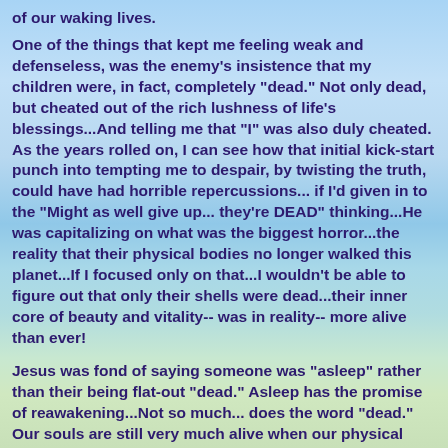of our waking lives.
One of the things that kept me feeling weak and defenseless, was the enemy's insistence that my children were, in fact, completely "dead." Not only dead, but cheated out of the rich lushness of life's blessings...And telling me that "I" was also duly cheated. As the years rolled on, I can see how that initial kick-start punch into tempting me to despair, by twisting the truth, could have had horrible repercussions... if I'd given in to the "Might as well give up... they're DEAD" thinking...He was capitalizing on what was the biggest horror...the reality that their physical bodies no longer walked this planet...If I focused only on that...I wouldn't be able to figure out that only their shells were dead...their inner core of beauty and vitality-- was in reality-- more alive than ever!
Jesus was fond of saying someone was "asleep" rather than their being flat-out "dead." Asleep has the promise of reawakening...Not so much... does the word "dead." Our souls are still very much alive when our physical